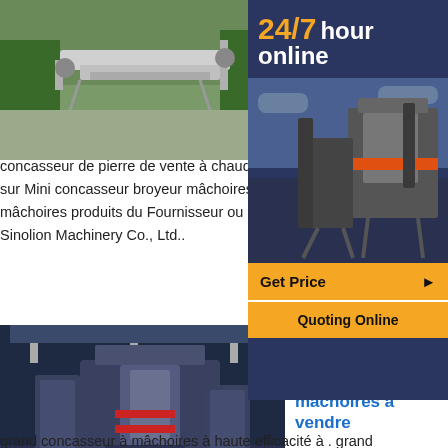[Figure (photo): Mobile stone crusher/conveyor machine outdoors with green trees in background]
Get Price
vente chaude mini broyeur de pierres
Chine Mini-concasseur de pie... vente à chaud Acheter. Chine... concasseur de pierre de vente à chaud Trouver les détails complets sur Mini concasseur broyeur mâchoires,Mini-Moveable,broyeur à mâchoires produits du Fournisseur ou du Fabricant Zheng... Sinolion Machinery Co., Ltd..
[Figure (photo): Large industrial jaw crusher machinery inside a factory hall]
Get Price
haute efficacité concasseur mâchoires à vendre
grand concasseur à mâchoires à haute efficacité à . grand concasseur à mâchoires à haute efficacité à vendre prix de vente de concasseur à marteaux est largement utilisé dans les mines, le ciment, les métallurgie et métaux et dans l'industrie chimique...
[Figure (infographic): Sidebar with 24/7 hour online text, mining machine image, Get Price button, Quoting Online button]
Chat Online